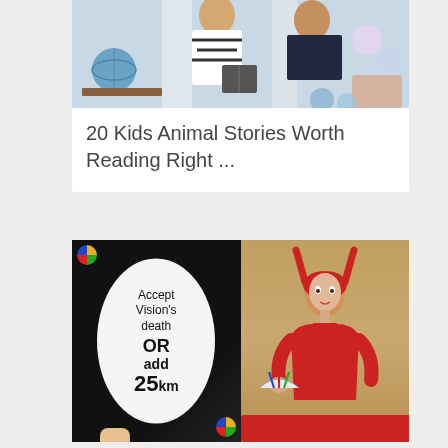[Figure (photo): Photo of people reading together in a tent-like setting with decorative pillows and a globe visible]
20 Kids Animal Stories Worth Reading Right ...
[Figure (photo): Two-panel image: left shows an UNO card meme reading 'Accept Vision's death OR add 25km', right shows a woman dressed as Scarlet Witch in red costume holding playing cards]